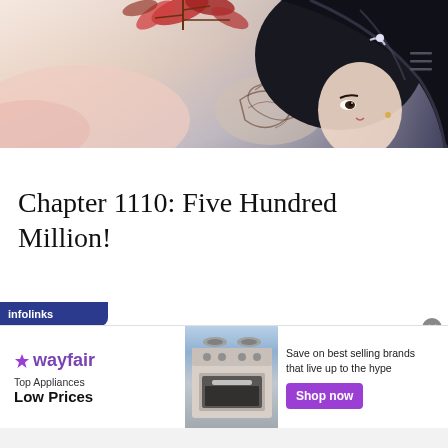[Figure (illustration): Anime-style illustration of a woman with black hair and dragon tattoo on her arm, lying among autumn red leaves on a light background. Hamburger menu icon in top right corner.]
Chapter 1110: Five Hundred Million!
[Figure (screenshot): Wayfair advertisement banner: infolinks label, Wayfair logo with star, 'Top Appliances Low Prices' text, image of a stove/range appliance, 'Save on best selling brands that live up to the hype' text, purple 'Shop now' button, and close X button.]